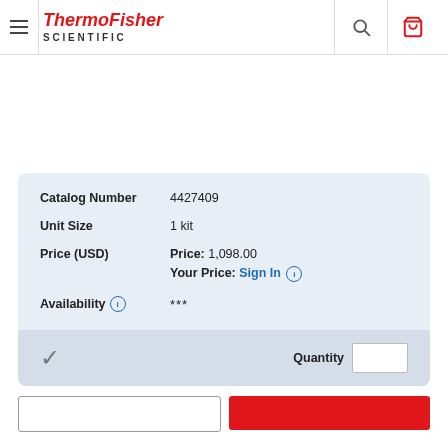ThermoFisher SCIENTIFIC
| Field | Value |
| --- | --- |
| Catalog Number | 4427409 |
| Unit Size | 1 kit |
| Price (USD) | Price: 1,098.00
Your Price: Sign In |
| Availability | *** |